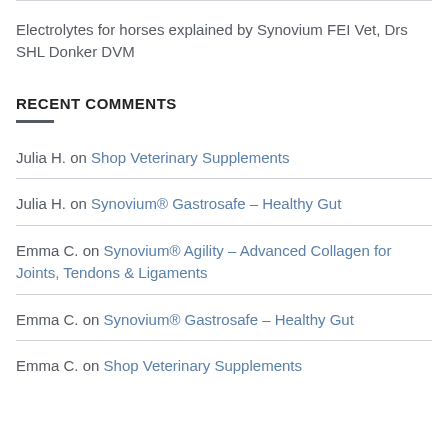Electrolytes for horses explained by Synovium FEI Vet, Drs SHL Donker DVM
RECENT COMMENTS
Julia H. on Shop Veterinary Supplements
Julia H. on Synovium® Gastrosafe – Healthy Gut
Emma C. on Synovium® Agility – Advanced Collagen for Joints, Tendons & Ligaments
Emma C. on Synovium® Gastrosafe – Healthy Gut
Emma C. on Shop Veterinary Supplements